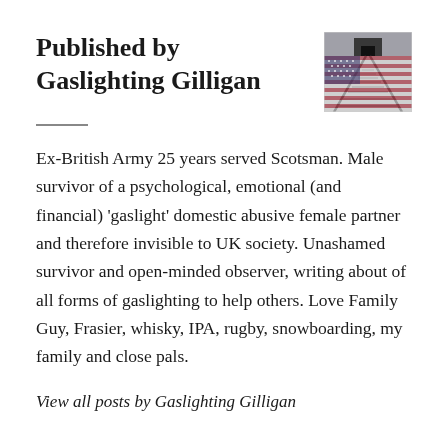Published by Gaslighting Gilligan
[Figure (photo): Black and white photo of railway tracks leading to a gatehouse, overlaid with an American flag pattern]
Ex-British Army 25 years served Scotsman. Male survivor of a psychological, emotional (and financial) 'gaslight' domestic abusive female partner and therefore invisible to UK society. Unashamed survivor and open-minded observer, writing about of all forms of gaslighting to help others. Love Family Guy, Frasier, whisky, IPA, rugby, snowboarding, my family and close pals.
View all posts by Gaslighting Gilligan